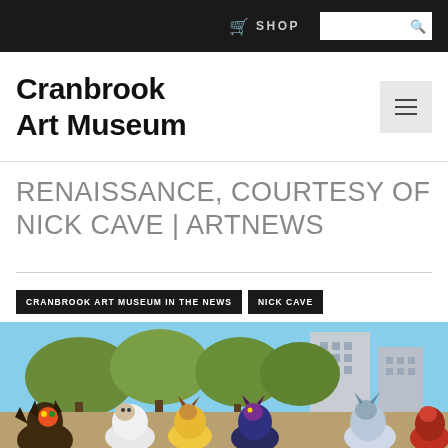SHOP [search]
Cranbrook Art Museum
RENAISSANCE, COURTESY OF NICK CAVE | ARTNEWS
CRANBROOK ART MUSEUM IN THE NEWS
NICK CAVE
[Figure (photo): Performers in colorful animal-like furry costumes and masks dancing outdoors in an urban setting with trees and tall buildings in the background.]